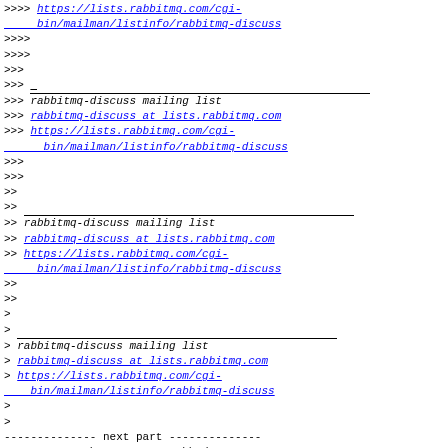>>>> https://lists.rabbitmq.com/cgi-bin/mailman/listinfo/rabbitmq-discuss
>>>>
>>>>
>>>
>>> ___
>>> rabbitmq-discuss mailing list
>>> rabbitmq-discuss at lists.rabbitmq.com
>>> https://lists.rabbitmq.com/cgi-bin/mailman/listinfo/rabbitmq-discuss
>>>
>>>
>>
>> ___
>> rabbitmq-discuss mailing list
>> rabbitmq-discuss at lists.rabbitmq.com
>> https://lists.rabbitmq.com/cgi-bin/mailman/listinfo/rabbitmq-discuss
>>
>>
>
> ___
> rabbitmq-discuss mailing list
> rabbitmq-discuss at lists.rabbitmq.com
> https://lists.rabbitmq.com/cgi-bin/mailman/listinfo/rabbitmq-discuss
>
>
-------------- next part --------------
An HTML attachment was scrubbed...